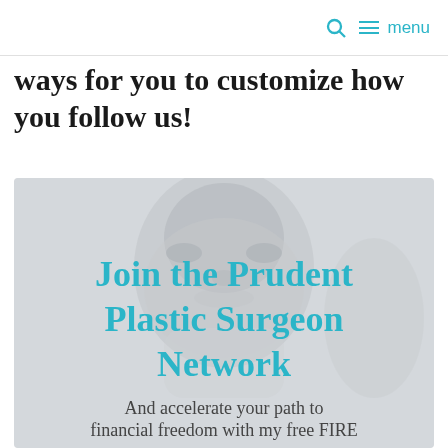menu
ways for you to customize how you follow us!
[Figure (photo): Grayscale blurred photo of a person's face with overlaid text reading 'Join the Prudent Plastic Surgeon Network' in bold teal and below 'And accelerate your path to financial freedom with my free FIRE']
Join the Prudent Plastic Surgeon Network
And accelerate your path to financial freedom with my free FIRE